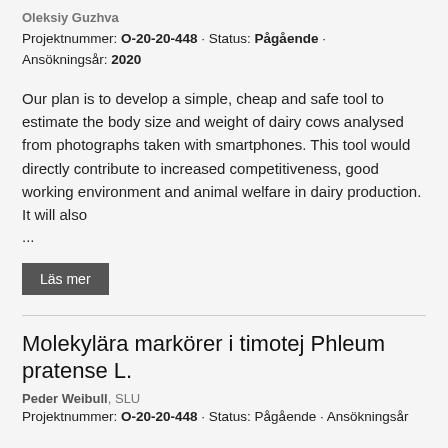Oleksiy Guzhva
Projektnummer: O-20-20-448 · Status: Pågående · Ansökningsår: 2020
Our plan is to develop a simple, cheap and safe tool to estimate the body size and weight of dairy cows analysed from photographs taken with smartphones. This tool would directly contribute to increased competitiveness, good working environment and animal welfare in dairy production. It will also
...
Läs mer
Molekylära markörer i timotej Phleum pratense L.
Peder Weibull, SLU
Projektnummer: O-20-20-448 · Status: Pågående · Ansökningsår